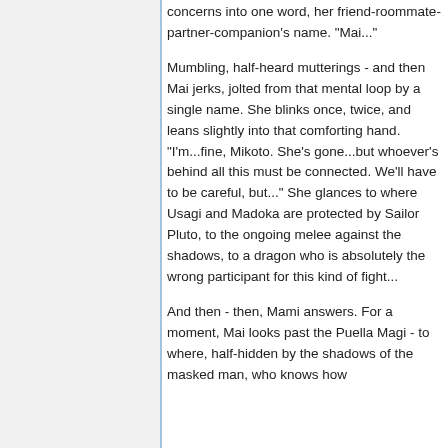concerns into one word, her friend-roommate-partner-companion's name. "Mai..."
Mumbling, half-heard mutterings - and then Mai jerks, jolted from that mental loop by a single name. She blinks once, twice, and leans slightly into that comforting hand. "I'm...fine, Mikoto. She's gone...but whoever's behind all this must be connected. We'll have to be careful, but..." She glances to where Usagi and Madoka are protected by Sailor Pluto, to the ongoing melee against the shadows, to a dragon who is absolutely the wrong participant for this kind of fight...
And then - then, Mami answers. For a moment, Mai looks past the Puella Magi - to where, half-hidden by the shadows of the masked man, who knows how